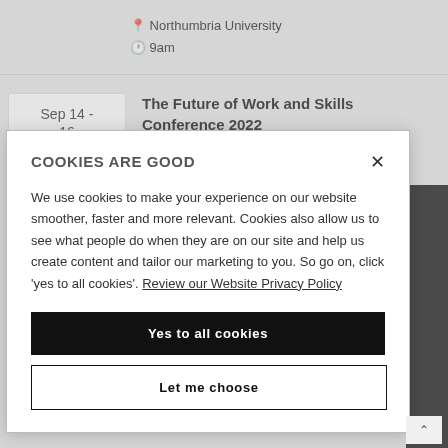Northumbria University
9am
The Future of Work and Skills Conference 2022
COOKIES ARE GOOD
We use cookies to make your experience on our website smoother, faster and more relevant. Cookies also allow us to see what people do when they are on our site and help us create content and tailor our marketing to you. So go on, click 'yes to all cookies'. Review our Website Privacy Policy
Yes to all cookies
Let me choose